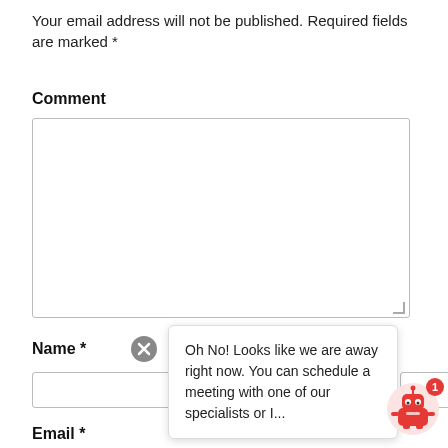Your email address will not be published. Required fields are marked *
Comment
[Figure (screenshot): A textarea form input box for entering a comment, with a resize handle at the bottom-right corner.]
Name *
[Figure (screenshot): An X/close circle icon button in gray]
[Figure (infographic): Chat popup overlay with text: Oh No! Looks like we are away right now. You can schedule a meeting with one of our specialists or I...]
[Figure (illustration): Red robot chatbot icon with a notification badge showing 1]
Email *